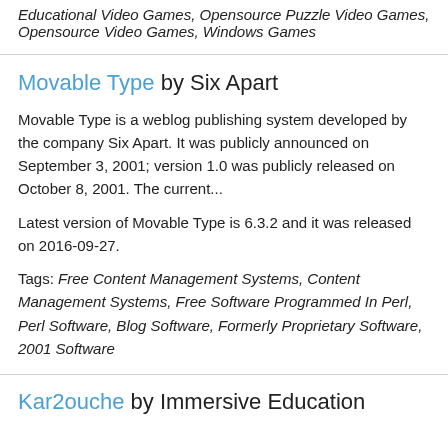Educational Video Games, Opensource Puzzle Video Games, Opensource Video Games, Windows Games
Movable Type by Six Apart
Movable Type is a weblog publishing system developed by the company Six Apart. It was publicly announced on September 3, 2001; version 1.0 was publicly released on October 8, 2001. The current...
Latest version of Movable Type is 6.3.2 and it was released on 2016-09-27.
Tags: Free Content Management Systems, Content Management Systems, Free Software Programmed In Perl, Perl Software, Blog Software, Formerly Proprietary Software, 2001 Software
Kar2ouche by Immersive Education